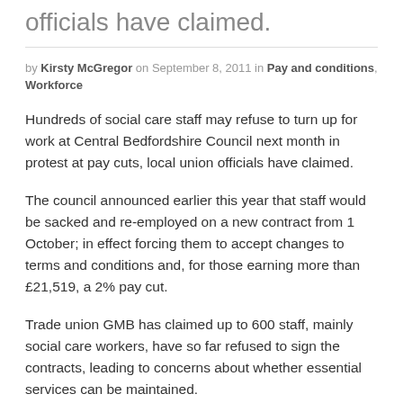officials have claimed.
by Kirsty McGregor on September 8, 2011 in Pay and conditions, Workforce
Hundreds of social care staff may refuse to turn up for work at Central Bedfordshire Council next month in protest at pay cuts, local union officials have claimed.
The council announced earlier this year that staff would be sacked and re-employed on a new contract from 1 October; in effect forcing them to accept changes to terms and conditions and, for those earning more than £21,519, a 2% pay cut.
Trade union GMB has claimed up to 600 staff, mainly social care workers, have so far refused to sign the contracts, leading to concerns about whether essential services can be maintained.
Martin Foster, branch secretary of GMB in Bedfordshire,